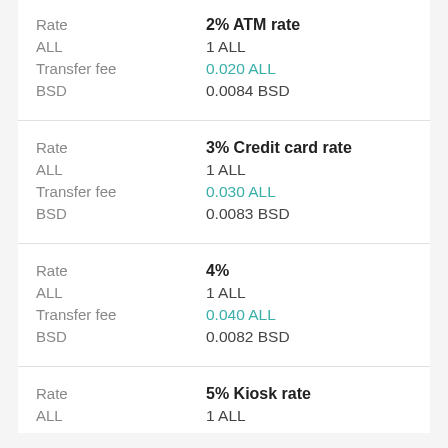| Field | Value |
| --- | --- |
| Rate | 2% ATM rate |
| ALL | 1 ALL |
| Transfer fee | 0.020 ALL |
| BSD | 0.0084 BSD |
| Field | Value |
| --- | --- |
| Rate | 3% Credit card rate |
| ALL | 1 ALL |
| Transfer fee | 0.030 ALL |
| BSD | 0.0083 BSD |
| Field | Value |
| --- | --- |
| Rate | 4% |
| ALL | 1 ALL |
| Transfer fee | 0.040 ALL |
| BSD | 0.0082 BSD |
| Field | Value |
| --- | --- |
| Rate | 5% Kiosk rate |
| ALL | 1 ALL |